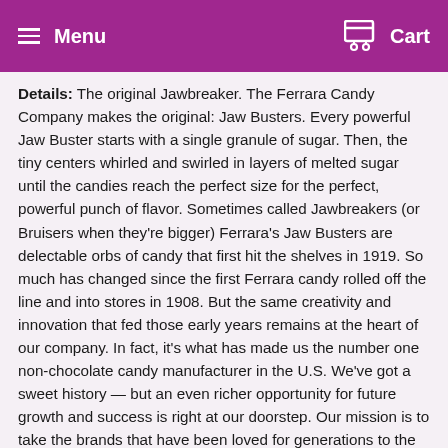Menu   Cart
Details: The original Jawbreaker. The Ferrara Candy Company makes the original: Jaw Busters. Every powerful Jaw Buster starts with a single granule of sugar. Then, the tiny centers whirled and swirled in layers of melted sugar until the candies reach the perfect size for the perfect, powerful punch of flavor. Sometimes called Jawbreakers (or Bruisers when they're bigger) Ferrara's Jaw Busters are delectable orbs of candy that first hit the shelves in 1919. So much has changed since the first Ferrara candy rolled off the line and into stores in 1908. But the same creativity and innovation that fed those early years remains at the heart of our company. In fact, it's what has made us the number one non-chocolate candy manufacturer in the U.S. We've got a sweet history — but an even richer opportunity for future growth and success is right at our doorstep. Our mission is to take the brands that have been loved for generations to the next level. In 2012, we brought together brands like Trolli, Brach's, Black Forest, Now & Later, Chuckles, and Lemonhead. We're continuously innovating to bring the best-tasting, highest-quality confections to the marketplace.